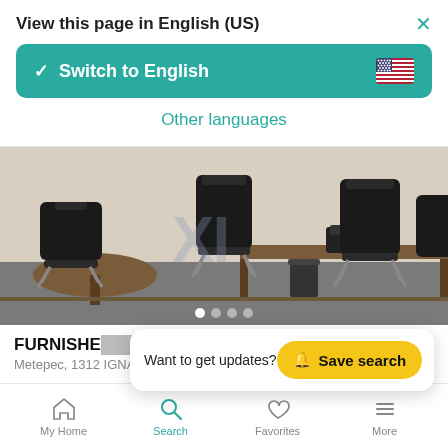View this page in English (US)
Switch to English
Other languages
[Figure (photo): Office room with brown wooden desks and black office chairs on grey carpet, with a telephone on the desk and a watermarked logo]
FURNISHE... E TORRE ...
Metepec, 1312 IGNACIO COMONFORT
Want to get updates?  Save search
My Home  Search  Favorites  More